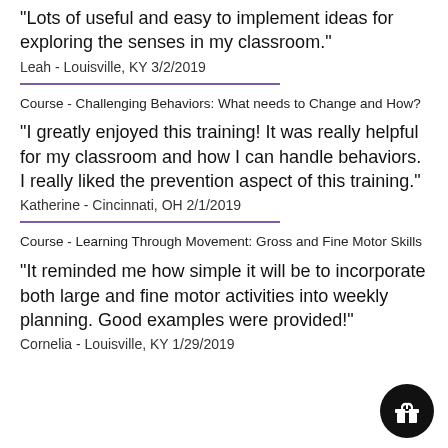"Lots of useful and easy to implement ideas for exploring the senses in my classroom."
Leah - Louisville, KY 3/2/2019
Course - Challenging Behaviors: What needs to Change and How?
"I greatly enjoyed this training! It was really helpful for my classroom and how I can handle behaviors. I really liked the prevention aspect of this training."
Katherine - Cincinnati, OH 2/1/2019
Course - Learning Through Movement: Gross and Fine Motor Skills
"It reminded me how simple it will be to incorporate both large and fine motor activities into weekly planning. Good examples were provided!"
Cornelia - Louisville, KY 1/29/2019